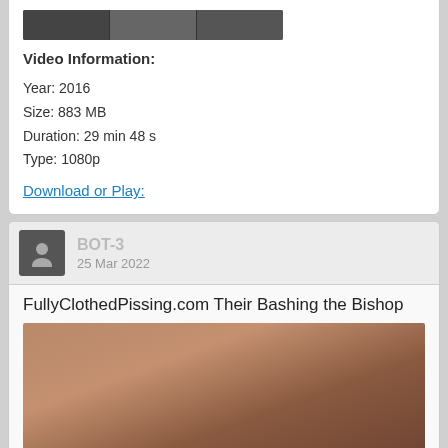[Figure (photo): Preview strip of video thumbnails]
Video Information:
Year: 2016
Size: 883 MB
Duration: 29 min 48 s
Type: 1080p
Download or Play:
BOT-3
25 Mar 2022
FullyClothedPissing.com Their Bashing the Bishop
[Figure (photo): Photo accompanying the post]